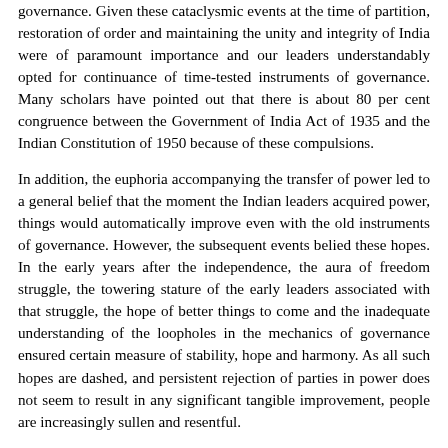governance. Given these cataclysmic events at the time of partition, restoration of order and maintaining the unity and integrity of India were of paramount importance and our leaders understandably opted for continuance of time-tested instruments of governance. Many scholars have pointed out that there is about 80 per cent congruence between the Government of India Act of 1935 and the Indian Constitution of 1950 because of these compulsions.
In addition, the euphoria accompanying the transfer of power led to a general belief that the moment the Indian leaders acquired power, things would automatically improve even with the old instruments of governance. However, the subsequent events belied these hopes. In the early years after the independence, the aura of freedom struggle, the towering stature of the early leaders associated with that struggle, the hope of better things to come and the inadequate understanding of the loopholes in the mechanics of governance ensured certain measure of stability, hope and harmony. As all such hopes are dashed, and persistent rejection of parties in power does not seem to result in any significant tangible improvement, people are increasingly sullen and resentful.